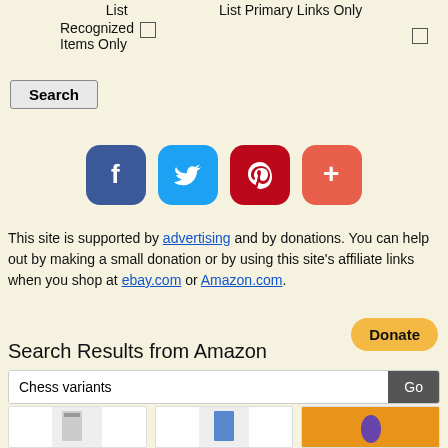List
Recognized Items Only [checkbox]
List Primary Links Only [checkbox]
Search
[Figure (infographic): Social media icons: Facebook (dark blue rounded square), Twitter (light blue rounded square), Pinterest (dark red rounded square), Plus/more (red-orange rounded square)]
This site is supported by advertising and by donations. You can help out by making a small donation or by using this site's affiliate links when you shop at ebay.com or Amazon.com.
[Figure (other): PayPal Donate button, yellow/gold rounded pill shape]
Search Results from Amazon
Chess variants [search input] Go
[Figure (photo): Three Amazon product cards showing chess-related books/products, partially visible]